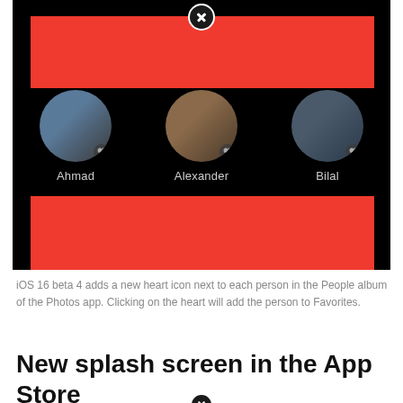[Figure (screenshot): Screenshot of iOS Photos app People album showing circular avatar photos with names Ahmad, Alexander, Bilal, Cynthia, Ezgi, Fatima. Two red redaction bars cover portions of the UI. Heart icons appear next to each person. XDA logo in bottom right.]
iOS 16 beta 4 adds a new heart icon next to each person in the People album of the Photos app. Clicking on the heart will add the person to Favorites.
New splash screen in the App Store